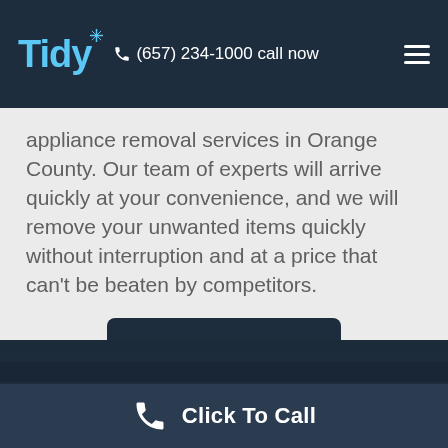Tidy  ☎ (657) 234-1000 call now
appliance removal services in Orange County. Our team of experts will arrive quickly at your convenience, and we will remove your unwanted items quickly without interruption and at a price that can't be beaten by competitors.
Get in touch »
Click To Call